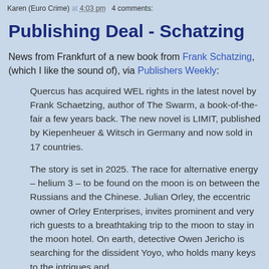Karen (Euro Crime) at 4:03 pm   4 comments:
Publishing Deal - Schatzing
News from Frankfurt of a new book from Frank Schatzing, (which I like the sound of), via Publishers Weekly:
Quercus has acquired WEL rights in the latest novel by Frank Schaetzing, author of The Swarm, a book-of-the-fair a few years back. The new novel is LIMIT, published by Kiepenheuer & Witsch in Germany and now sold in 17 countries.
The story is set in 2025. The race for alternative energy – helium 3 – to be found on the moon is on between the Russians and the Chinese. Julian Orley, the eccentric owner of Orley Enterprises, invites prominent and very rich guests to a breathtaking trip to the moon to stay in the moon hotel. On earth, detective Owen Jericho is searching for the dissident Yoyo, who holds many keys to the intrigues and